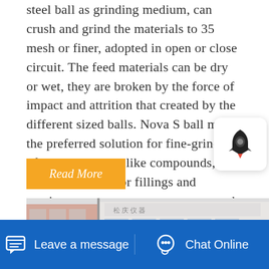steel ball as grinding medium, can crush and grind the materials to 35 mesh or finer, adopted in open or close circuit. The feed materials can be dry or wet, they are broken by the force of impact and attrition that created by the different sized balls. Nova S ball mill is the preferred solution for fine-grinding of various masses like compounds, spreads, creams for fillings and coatings, cocoa masses, nut pastes and other fat-based masses. The unique grinding chamber delivers one-step-grinding at low temperatures, ensuring that
Read More
[Figure (photo): Exterior photo of a building/factory with Chinese text on the facade and trees in front]
Leave a message
Chat Online